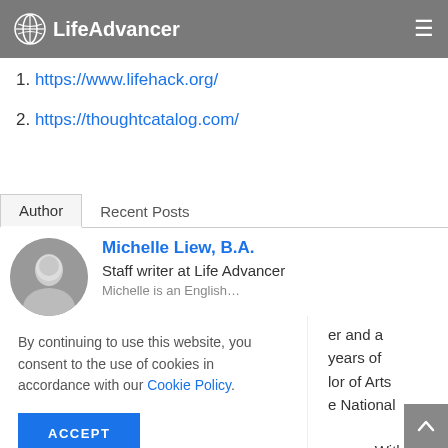LifeAdvancer
References:
1. https://www.lifehack.org/
2. https://thoughtcatalog.com/
Author | Recent Posts
Michelle Liew, B.A.
Staff writer at Life Advancer
er and a years of lor of Arts e National apore. With orking with lichelle
By continuing to use this website, you consent to the use of cookies in accordance with our Cookie Policy.
ACCEPT